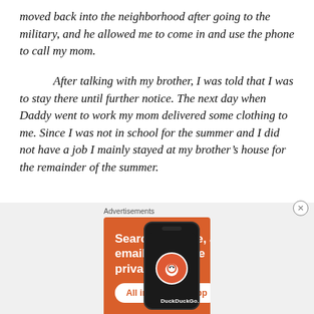moved back into the neighborhood after going to the military, and he allowed me to come in and use the phone to call my mom.
After talking with my brother, I was told that I was to stay there until further notice. The next day when Daddy went to work my mom delivered some clothing to me. Since I was not in school for the summer and I did not have a job I mainly stayed at my brother's house for the remainder of the summer.
[Figure (other): DuckDuckGo advertisement banner with orange background showing text 'Search, browse, and email with more privacy. All in One Free App' alongside a smartphone displaying the DuckDuckGo logo]